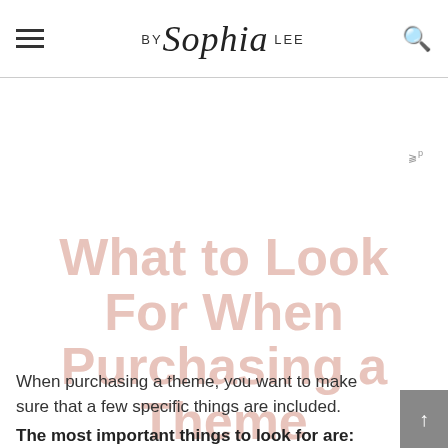BY Sophia LEE
ᵖ
What to Look For When Purchasing a Theme
When purchasing a theme, you want to make sure that a few specific things are included.
The most important things to look for are: